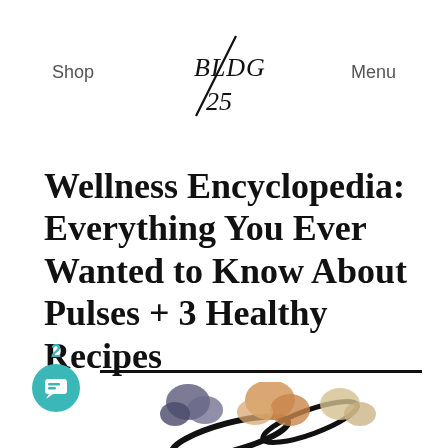Shop  BLDG 25  Menu
Wellness Encyclopedia: Everything You Ever Wanted to Know About Pulses + 3 Healthy Recipes
Posted by Julie O'Boyle on March 30, 2016 in Food
[Figure (illustration): Decorative food illustration showing pulses/legumes arranged in a stylized lettering composition with black calligraphy strokes against white background]